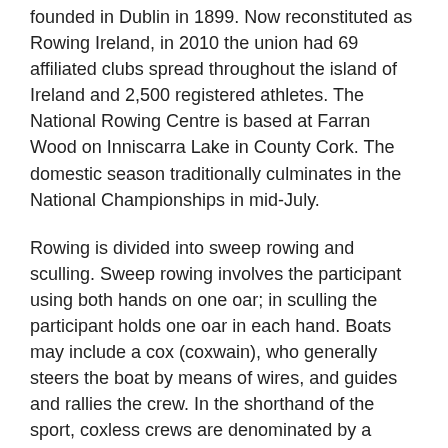founded in Dublin in 1899. Now reconstituted as Rowing Ireland, in 2010 the union had 69 affiliated clubs spread throughout the island of Ireland and 2,500 registered athletes. The National Rowing Centre is based at Farran Wood on Inniscarra Lake in County Cork. The domestic season traditionally culminates in the National Championships in mid-July.
Rowing is divided into sweep rowing and sculling. Sweep rowing involves the participant using both hands on one oar; in sculling the participant holds one oar in each hand. Boats may include a cox (coxwain), who generally steers the boat by means of wires, and guides and rallies the crew. In the shorthand of the sport, coxless crews are denominated by a minus (e.g. a men's coxless four is M4-). Senior sculling crews generally do not include a cox. The set distance for competition in regattas is 2,000 metres. Six-lane racing is standard.
The Olympic Games are the highest level at which rowers